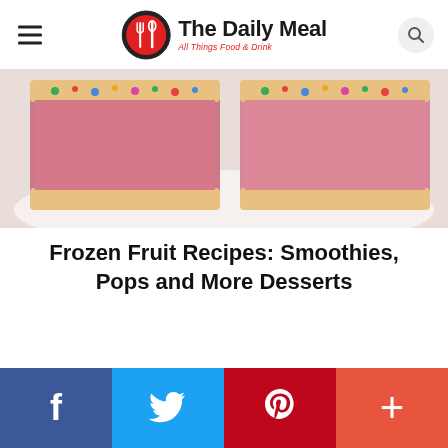The Daily Meal — All Things Food & Drink
[Figure (photo): Close-up photo of frozen fruit dessert bars coated in colorful cereal sprinkles with pink/berry ice cream filling, served on a white plate]
Frozen Fruit Recipes: Smoothies, Pops and More Desserts
[Figure (infographic): Social media sharing bar with four buttons: Facebook (dark blue), Twitter (light blue), Pinterest (red), and More/Plus (orange-red)]